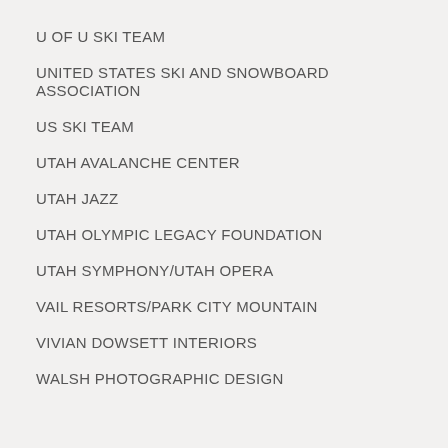U OF U SKI TEAM
UNITED STATES SKI AND SNOWBOARD ASSOCIATION
US SKI TEAM
UTAH AVALANCHE CENTER
UTAH JAZZ
UTAH OLYMPIC LEGACY FOUNDATION
UTAH SYMPHONY/UTAH OPERA
VAIL RESORTS/PARK CITY MOUNTAIN
VIVIAN DOWSETT INTERIORS
WALSH PHOTOGRAPHIC DESIGN